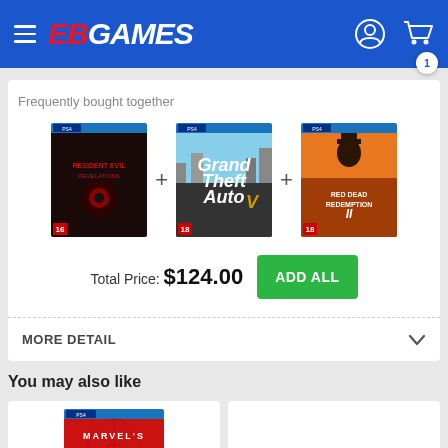EB GAMES
Frequently bought together
[Figure (screenshot): Three PS4 game covers: Resident Evil Revelations, Grand Theft Auto V, Red Dead Redemption II, joined by plus signs]
Total Price: $124.00
ADD ALL
MORE DETAIL
You may also like
[Figure (screenshot): PS4 Spider-Man game cover]
[Figure (screenshot): PS4 DualShock controller]